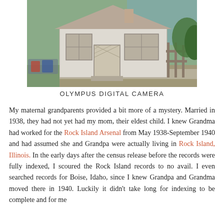[Figure (photo): Exterior photo of a small white single-story house with two windows, a central door with lattice detail, a wooden fence on the right, and greenery/trees in the background. Taken with an Olympus digital camera.]
OLYMPUS DIGITAL CAMERA
My maternal grandparents provided a bit more of a mystery. Married in 1938, they had not yet had my mom, their eldest child. I knew Grandma had worked for the Rock Island Arsenal from May 1938-September 1940 and had assumed she and Grandpa were actually living in Rock Island, Illinois. In the early days after the census release before the records were fully indexed, I scoured the Rock Island records to no avail. I even searched records for Boise, Idaho, since I knew Grandpa and Grandma moved there in 1940. Luckily it didn't take long for indexing to be complete and for me